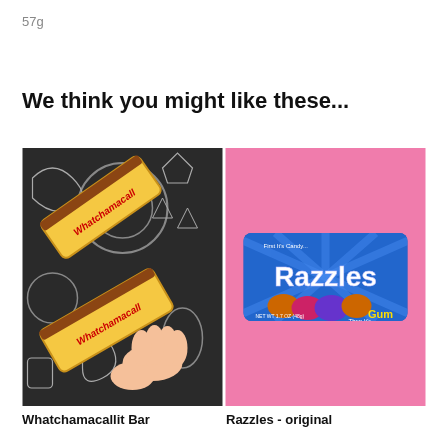57g
We think you might like these...
[Figure (photo): Photo of Whatchamacallit candy bars held in hand against black and white illustrated background]
[Figure (photo): Photo of Razzles candy gum package on pink background]
Whatchamacallit Bar
Razzles - original